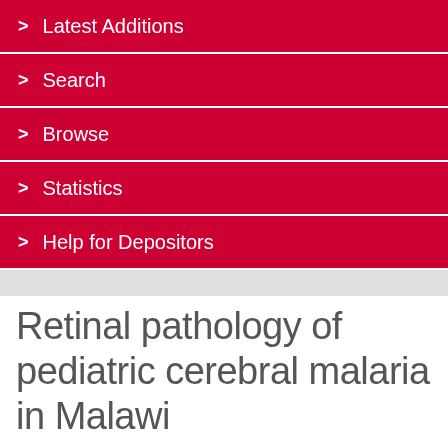> Latest Additions
> Search
> Browse
> Statistics
> Help for Depositors
Retinal pathology of pediatric cerebral malaria in Malawi
+ Tools
White, V. A., Lewallen, S., Beare, N. A. V., Molyneux, Malcolm E and Taylor, T. E. (2009) 'Retinal pathology of pediatric cerebral